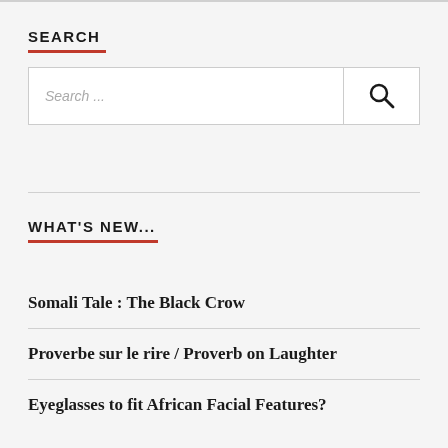SEARCH
[Figure (other): Search input box with placeholder text 'Search ...' and a magnifying glass search button on the right]
WHAT'S NEW...
Somali Tale : The Black Crow
Proverbe sur le rire / Proverb on Laughter
Eyeglasses to fit African Facial Features?